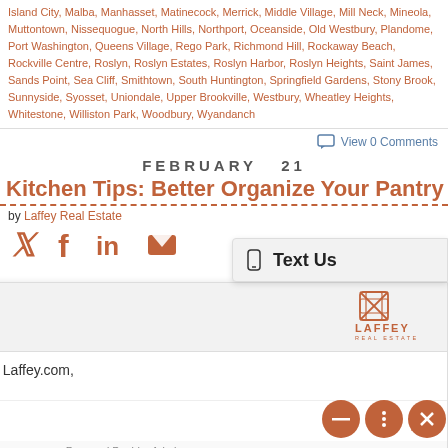Island City, Malba, Manhasset, Matinecock, Merrick, Middle Village, Mill Neck, Mineola, Muttontown, Nissequogue, North Hills, Northport, Oceanside, Old Westbury, Plandome, Port Washington, Queens Village, Rego Park, Richmond Hill, Rockaway Beach, Rockville Centre, Roslyn, Roslyn Estates, Roslyn Harbor, Roslyn Heights, Saint James, Sands Point, Sea Cliff, Smithtown, South Huntington, Springfield Gardens, Stony Brook, Sunnyside, Syosset, Uniondale, Upper Brookville, Westbury, Wheatley Heights, Whitestone, Williston Park, Woodbury, Wyandanch
View 0 Comments
FEBRUARY  21
Kitchen Tips: Better Organize Your Pantry
by Laffey Real Estate
[Figure (screenshot): Chat widget overlay showing Emily the Operator from Laffey Real Estate, with a message: Emily: Thank you for visiting Laffey.com, how can I help you? and a text input box.]
[Figure (photo): Article thumbnail image showing Laffey Real Estate logo and kitchen pantry items]
Text Us
Emily
Operator
Emily: Thank you for visiting Laffey.com, how can I help you?
Type here...
Powered By: LiveAdmins